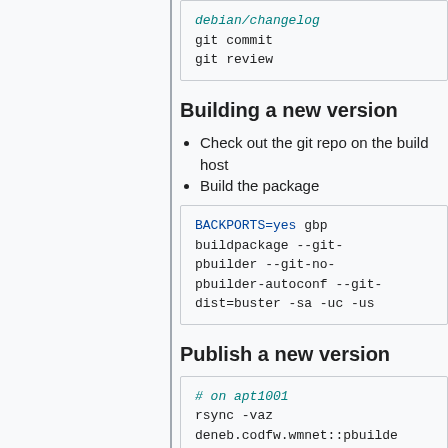debian/changelog
git commit
git review
Building a new version
Check out the git repo on the build host
Build the package
BACKPORTS=yes gbp buildpackage --git-pbuilder --git-no-pbuilder-autoconf --git-dist=buster -sa -uc -us
Publish a new version
# on apt1001
rsync -vaz
deneb.codfw.wmnet::pbuilder